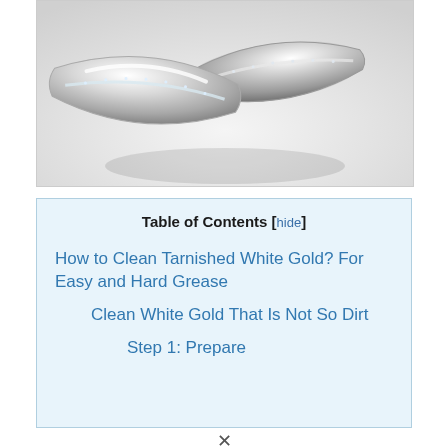[Figure (photo): Two silver/white gold rings with small diamond accents resting on a soft white surface]
| Table of Contents [hide] |
| How to Clean Tarnished White Gold? For Easy and Hard Grease |
| Clean White Gold That Is Not So Dirt |
| Step 1: Prepare |